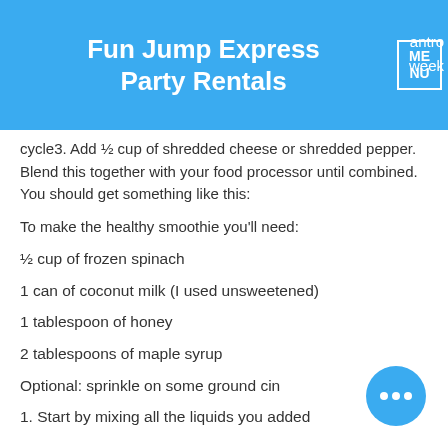Fun Jump Express Party Rentals
cycle3. Add ½ cup of shredded cheese or shredded pepper. Blend this together with your food processor until combined. You should get something like this:
To make the healthy smoothie you'll need:
½ cup of frozen spinach
1 can of coconut milk (I used unsweetened)
1 tablespoon of honey
2 tablespoons of maple syrup
Optional: sprinkle on some ground cin...
1. Start by mixing all the liquids you added